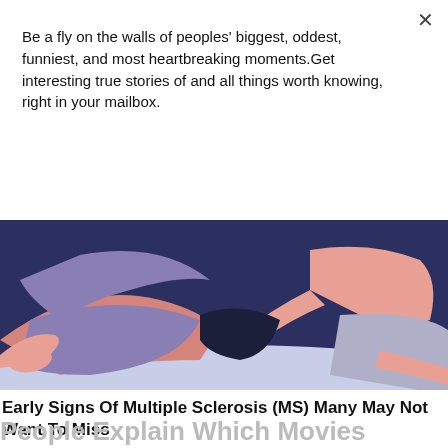Be a fly on the walls of peoples' biggest, oddest, funniest, and most heartbreaking moments.Get interesting true stories of and all things worth knowing, right in your mailbox.
Subscribe
[Figure (illustration): Illustration of two people lying down, with purple/mauve clothing, pink skin tones, on a light blue surface, with dark navy background elements.]
Early Signs Of Multiple Sclerosis (MS) Many May Not Want To Miss
MS | Search Ads
People Explain Which Movies